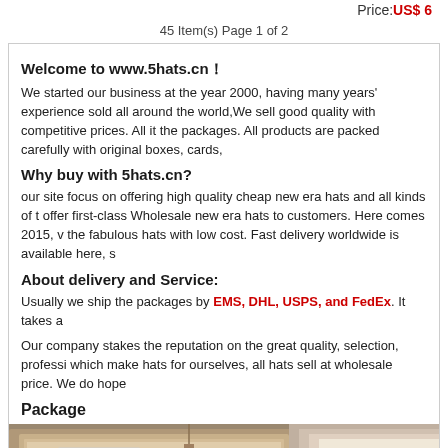Price:US$ 6
45 Item(s) Page 1 of 2
Welcome to www.5hats.cn！
We started our business at the year 2000, having many years' experience sold all around the world,We sell good quality with competitive prices. All it the packages. All products are packed carefully with original boxes, cards,
Why buy with 5hats.cn?
our site focus on offering high quality cheap new era hats and all kinds of t offer first-class Wholesale new era hats to customers. Here comes 2015, v the fabulous hats with low cost. Fast delivery worldwide is available here, s
About delivery and Service:
Usually we ship the packages by EMS, DHL, USPS, and FedEx. It takes a
Our company stakes the reputation on the great quality, selection, professi which make hats for ourselves, all hats sell at wholesale price. We do hope
Package
[Figure (photo): Photo of packaged cardboard boxes being shipped, with a barcode label visible on one box]